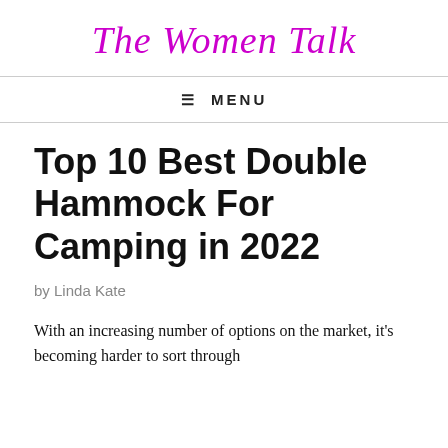The Women Talk
≡ MENU
Top 10 Best Double Hammock For Camping in 2022
by Linda Kate
With an increasing number of options on the market, it's becoming harder to sort through